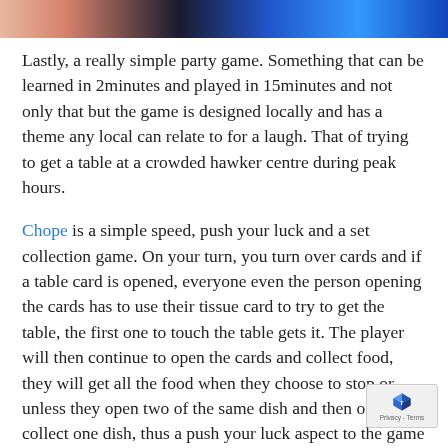[Figure (photo): Top strip showing partial image of a person and blue background]
Lastly, a really simple party game. Something that can be learned in 2minutes and played in 15minutes and not only that but the game is designed locally and has a theme any local can relate to for a laugh. That of trying to get a table at a crowded hawker centre during peak hours.
Chope is a simple speed, push your luck and a set collection game. On your turn, you turn over cards and if a table card is opened, everyone even the person opening the cards has to use their tissue card to try to get the table, the first one to touch the table gets it. The player will then continue to open the cards and collect food, they will get all the food when they choose to stop or unless they open two of the same dish and then only collect one dish, thus a push your luck aspect to the game too. At the end of the game, tables with dishes gain points but tables without food or food without tables will lose